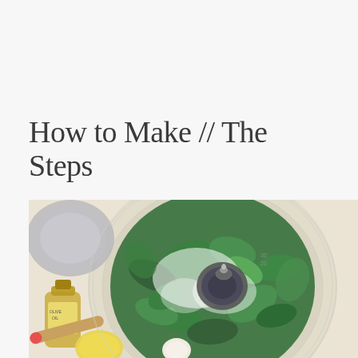How to Make // The Steps
[Figure (photo): Top-down view of a food processor bowl filled with fresh green herbs (mint and basil leaves) and white powder (likely salt or sugar), with a blender blade assembly in the center. Surrounding items include a bowl, a bottle of oil or honey, and what appears to be a lemon and garlic clove on a light marble surface.]